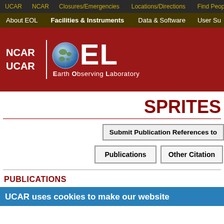UCAR | NCAR | Closures/Emergencies | Locations/Directions | Find People
About EOL | Facilities & Instruments | Data & Software | User Su...
[Figure (logo): NCAR UCAR EOL Earth Observing Laboratory logo on red banner with globe graphic]
SPRITES
Submit Publication References to
Publications | Other Citation
PUBLICATIONS
UCAR uses cookies to make our website